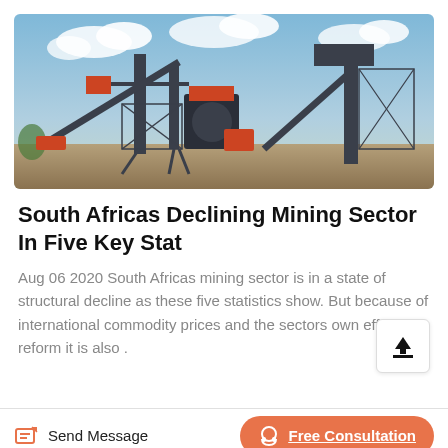[Figure (photo): Industrial mining facility with conveyor belts, large metal structures, and heavy equipment against a partly cloudy sky.]
South Africas Declining Mining Sector In Five Key Stat
Aug 06 2020 South Africas mining sector is in a state of structural decline as these five statistics show. But because of international commodity prices and the sectors own efforts at reform it is also .
Send Message | Free Consultation